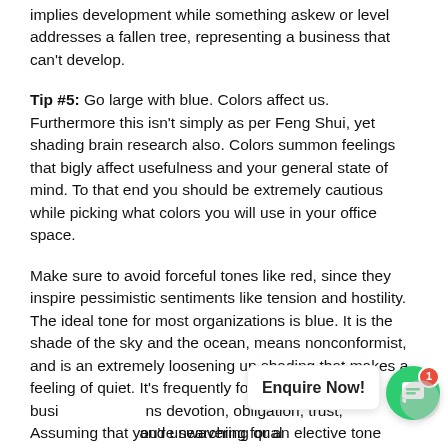implies development while something askew or level addresses a fallen tree, representing a business that can't develop.
Tip #5: Go large with blue. Colors affect us. Furthermore this isn't simply as per Feng Shui, yet shading brain research also. Colors summon feelings that bigly affect usefulness and your general state of mind. To that end you should be extremely cautious while picking what colors you will use in your office space.
Make sure to avoid forceful tones like red, since they inspire pessimistic sentiments like tension and hostility. The ideal tone for most organizations is blue. It is the shade of the sky and the ocean, means nonconformist, and is an extremely loosening up shading that makes a feeling of quiet. It's frequently found in the realm of busi... ns devotion, obligation, trust, and unwavering qual...
Assuming that you're searching for an elective tone...